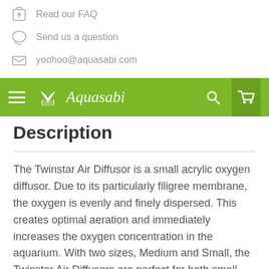Read our FAQ
Send us a question
yoohoo@aquasabi.com
Aquasabi
Description
The Twinstar Air Diffusor is a small acrylic oxygen diffusor. Due to its particularly filigree membrane, the oxygen is evenly and finely dispersed. This creates optimal aeration and immediately increases the oxygen concentration in the aquarium. With two sizes, Medium and Small, the Twinstar Air Diffusors are perfect for both small and larger aquariums.